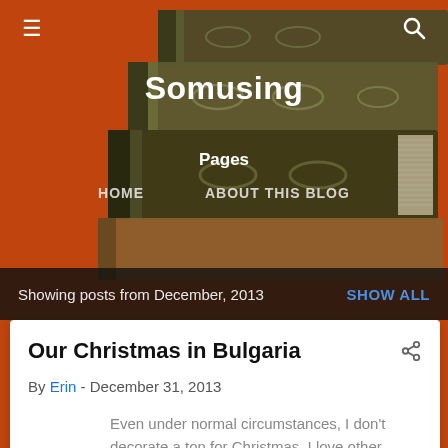Somusing
Pages
HOME   ABOUT THIS BLOG
Showing posts from December, 2013   SHOW ALL
Our Christmas in Bulgaria
By Erin - December 31, 2013
Even under normal circumstances, I don't decorate a ton for Christmas. I love other